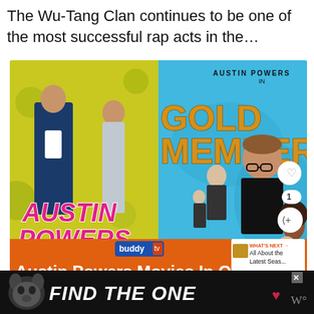The Wu-Tang Clan continues to be one of the most successful rap acts in the…
[Figure (screenshot): Austin Powers movie poster collage showing Austin Powers in Goldmember movie poster on BuddyTV website, with 'Austin Powers Movies In Order' headline and 'WHAT'S NEXT' sidebar thumbnail. Shows heart and share buttons with count of 1.]
[Figure (photo): Advertisement banner with dog photo and text 'FIND THE ONE' with heart icon on dark background]